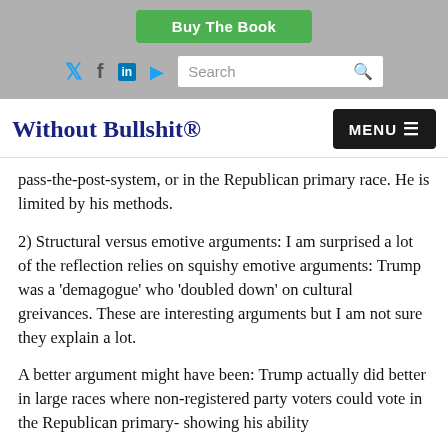Buy The Book
Social icons and Search bar
Without Bullshit®
pass-the-post-system, or in the Republican primary race. He is limited by his methods.
2) Structural versus emotive arguments: I am surprised a lot of the reflection relies on squishy emotive arguments: Trump was a 'demagogue' who 'doubled down' on cultural greivances. These are interesting arguments but I am not sure they explain a lot.
A better argument might have been: Trump actually did better in large races where non-registered party voters could vote in the Republican primary- showing his ability